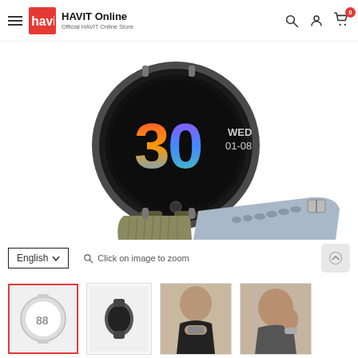HAVIT Online — Official HAVIT Online Store
[Figure (photo): Close-up product photo of a smartwatch showing colorful '30' on dial with 'WED 01-08', dual-tone band in olive/grey-blue]
English  ∨    🔍 Click on image to zoom
[Figure (photo): Thumbnail 1 (active/selected): white smartwatch band front view]
[Figure (photo): Thumbnail 2: dark smartwatch side view]
[Figure (photo): Thumbnail 3: woman wearing smartwatch]
[Figure (photo): Thumbnail 4: woman wearing smartwatch close-up]